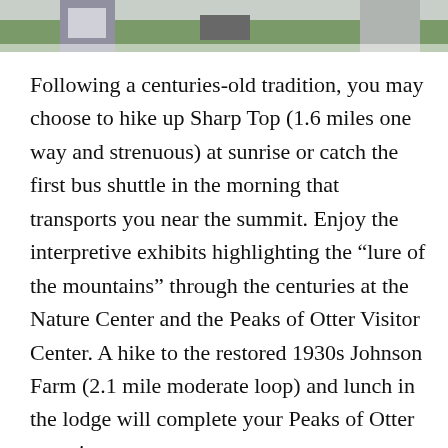[Figure (photo): Cropped photo at the top of the page showing a person outdoors, partially visible, with green grass or foliage in the background.]
Following a centuries-old tradition, you may choose to hike up Sharp Top (1.6 miles one way and strenuous) at sunrise or catch the first bus shuttle in the morning that transports you near the summit. Enjoy the interpretive exhibits highlighting the “lure of the mountains” through the centuries at the Nature Center and the Peaks of Otter Visitor Center. A hike to the restored 1930s Johnson Farm (2.1 mile moderate loop) and lunch in the lodge will complete your Peaks of Otter experience.